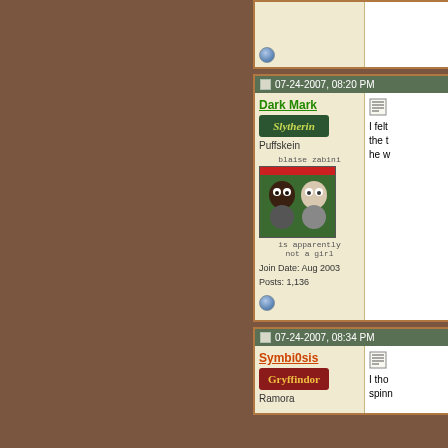[Figure (screenshot): Forum thread screenshot showing two posts. First post (partial, top): user profile area visible, online indicator. Second post: Dark Mark username (Slytherin), Puffskein rank, avatar showing blaise zabini cartoon 'is apparently not a girl', Join Date Aug 2003, Posts 1136, timestamp 07-24-2007 08:20 PM, message text beginning 'I felt the t he w'. Third post (partial, bottom): Symbi0sis username (Gryffindor), Ramora rank, timestamp 07-24-2007 08:34 PM, message text beginning 'I tho spinn'. Brown sidebar on left.]
07-24-2007, 08:20 PM
Dark Mark
Slytherin
Puffskein
Join Date: Aug 2003
Posts: 1,136
07-24-2007, 08:34 PM
Symbi0sis
Gryffindor
Ramora